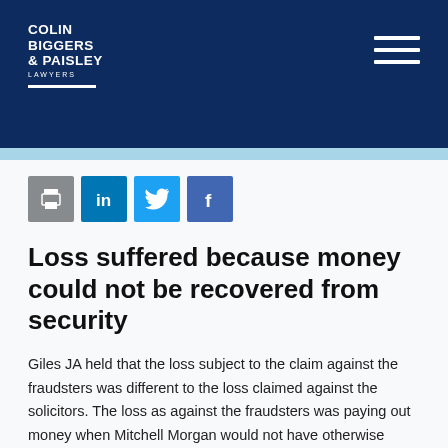COLIN BIGGERS & PAISLEY LAWYERS
[Figure (logo): Colin Biggers & Paisley Lawyers logo with hamburger menu icon on dark navy background]
Loss suffered because money could not be recovered from security
Giles JA held that the loss subject to the claim against the fraudsters was different to the loss claimed against the solicitors. The loss as against the fraudsters was paying out money when Mitchell Morgan would not have otherwise done so.
The loss claimed against the solicitors was not having the benefit of security for the money paid out. As Giles JA said at paragraph 43: "Loss is suffered because the money cannot be